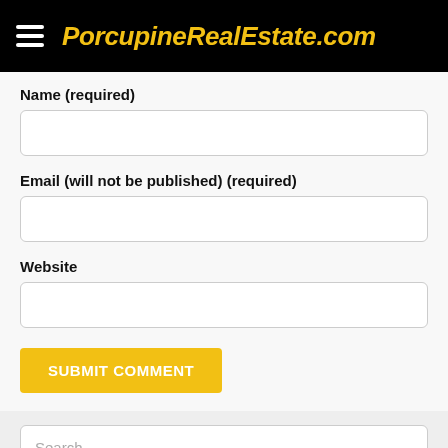PorcupineRealEstate.com
Name (required)
Email (will not be published) (required)
Website
SUBMIT COMMENT
Search
Stay Connected